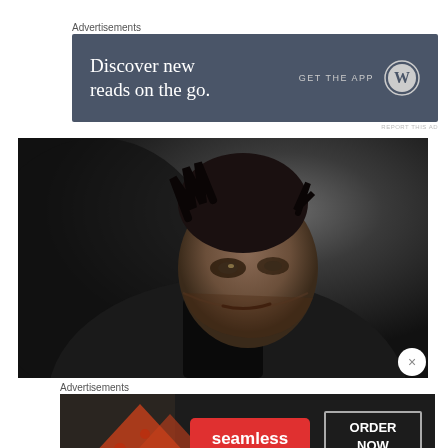Advertisements
[Figure (screenshot): Dark-themed advertisement banner: 'Discover new reads on the go.' with GET THE APP and WordPress logo on right]
REPORT THIS AD
[Figure (photo): Close-up dramatic photo of a man with spiky dark hair looking intensely at the camera against a dark background]
Advertisements
[Figure (screenshot): Seamless food delivery advertisement with pizza image, Seamless logo in red, and ORDER NOW button]